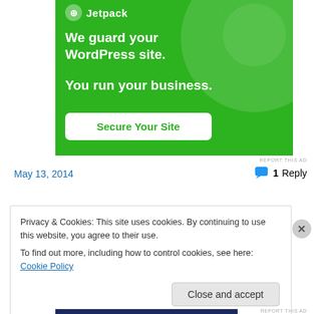[Figure (illustration): Jetpack advertisement banner with green background showing logo, headline 'We guard your WordPress site. You run your business.' and a 'Secure Your Site' button]
REPORT THIS AD
May 13, 2014
1 Reply
Privacy & Cookies: This site uses cookies. By continuing to use this website, you agree to their use.
To find out more, including how to control cookies, see here: Cookie Policy
Close and accept